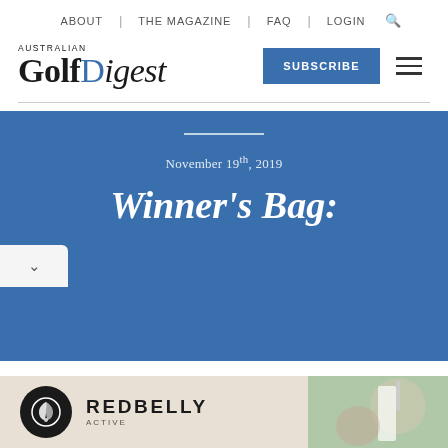ABOUT | THE MAGAZINE | FAQ | LOGIN
[Figure (logo): Australian Golf Digest logo with blue dot on 'i' in Digest]
SUBSCRIBE
November 19th, 2019
Winner's Bag:
[Figure (photo): Redbelly Active advertisement banner with circular logo and golfer photo]